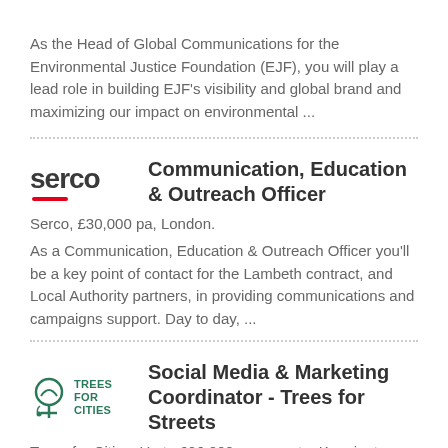As the Head of Global Communications for the Environmental Justice Foundation (EJF), you will play a lead role in building EJF's visibility and global brand and maximizing our impact on environmental ...
Communication, Education & Outreach Officer
Serco, £30,000 pa, London.
As a Communication, Education & Outreach Officer you'll be a key point of contact for the Lambeth contract, and Local Authority partners, in providing communications and campaigns support. Day to day, ...
Social Media & Marketing Coordinator - Trees for Streets
Trees for Cities, Up to £26,000 pa pro rata, Kennington, London.